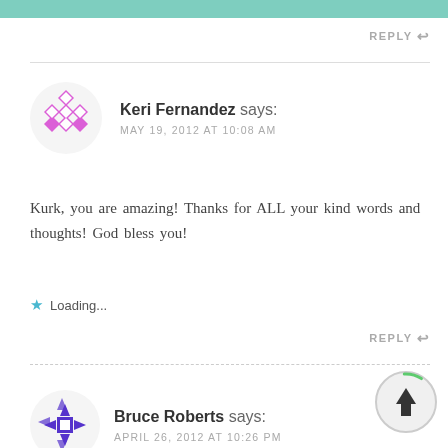REPLY
Keri Fernandez says:
MAY 19, 2012 AT 10:08 AM
Kurk, you are amazing! Thanks for ALL your kind words and thoughts! God bless you!
Loading...
REPLY
Bruce Roberts says:
APRIL 26, 2012 AT 10:26 PM